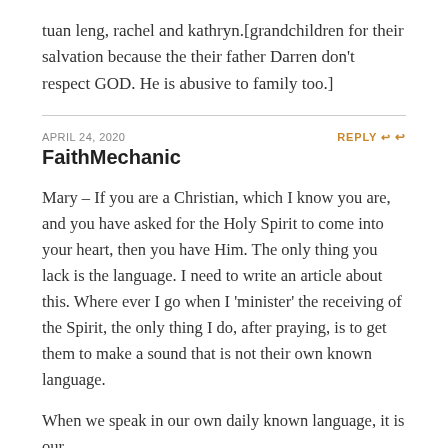tuan leng, rachel and kathryn.[grandchildren for their salvation because the their father Darren don't respect GOD. He is abusive to family too.]
APRIL 24, 2020
REPLY
FaithMechanic
Mary – If you are a Christian, which I know you are, and you have asked for the Holy Spirit to come into your heart, then you have Him. The only thing you lack is the language. I need to write an article about this. Where ever I go when I 'minister' the receiving of the Spirit, the only thing I do, after praying, is to get them to make a sound that is not their own known language.
When we speak in our own daily known language, it is our